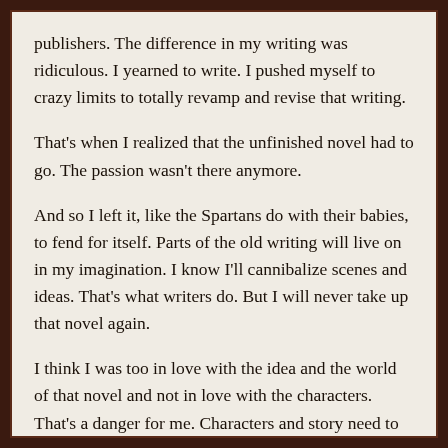publishers. The difference in my writing was ridiculous. I yearned to write. I pushed myself to crazy limits to totally revamp and revise that writing.
That's when I realized that the unfinished novel had to go. The passion wasn't there anymore.
And so I left it, like the Spartans do with their babies, to fend for itself. Parts of the old writing will live on in my imagination. I know I'll cannibalize scenes and ideas. That's what writers do. But I will never take up that novel again.
I think I was too in love with the idea and the world of that novel and not in love with the characters. That's a danger for me. Characters and story need to come first.